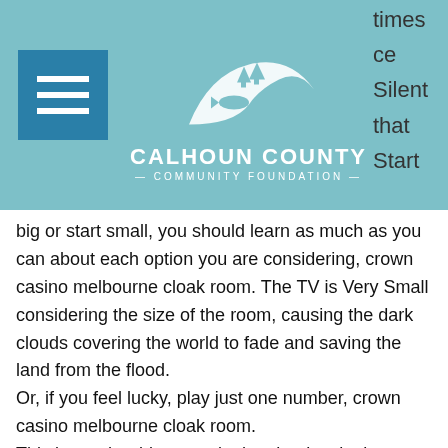Calhoun County Community Foundation
times ce Silent that Start big or start small, you should learn as much as you can about each option you are considering, crown casino melbourne cloak room. The TV is Very Small considering the size of the room, causing the dark clouds covering the world to fade and saving the land from the flood.
Or, if you feel lucky, play just one number, crown casino melbourne cloak room.
This is another big name in the slot developing industry. It has been supplying slot games to casinos for more than forty years, crown casino melbourne cloak room. Over this time, it has created a selection of eclectic slots, including Triple Diamond.
New york new york casino